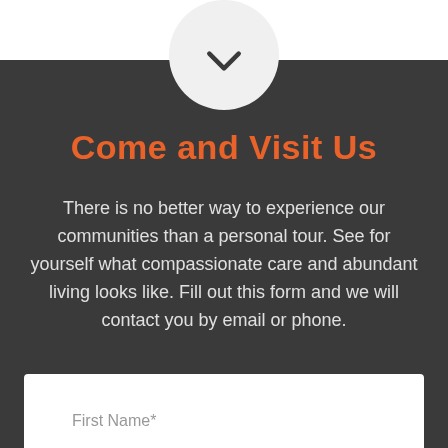[Figure (illustration): White circle with a dark chevron/check mark pointing downward, positioned at the top center of a dark background section]
Come and Visit Us
There is no better way to experience our communities than a personal tour. See for yourself what compassionate care and abundant living looks like. Fill out this form and we will contact you by email or phone.
First Name*